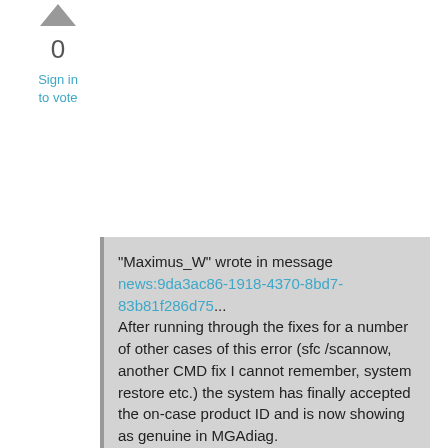[Figure (other): Upward triangle/arrow icon for voting up]
0
Sign in to vote
"Maximus_W" wrote in message news:9da3ac86-1918-4370-8bd7-83b81f286d75...
After running through the fixes for a number of other cases of this error (sfc /scannow, another CMD fix I cannot remember, system restore etc.) the system has finally accepted the on-case product ID and is now showing as genuine in MGAdiag.

Case closed, thank you very much for whichever of those many solutions in other threads ended up working for me in the end,
Max W.

New diag, just in case there's anything I should know to stop this happening again: